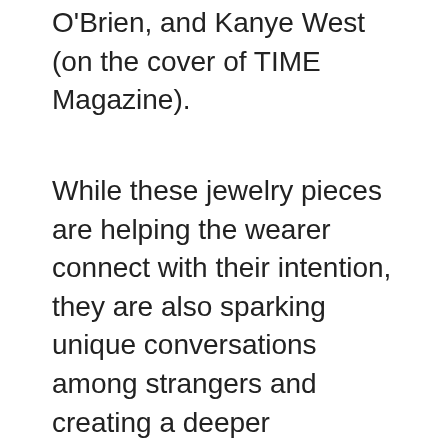O'Brien, and Kanye West (on the cover of TIME Magazine).
While these jewelry pieces are helping the wearer connect with their intention, they are also sparking unique conversations among strangers and creating a deeper connection between the person giving the piece and the person receiving it. And because Chris is providing the tools to make these pieces to whoever wants them, he's paving the way for greater impact and positivity all around the world.
Curious about the origins of MyIntent? Want